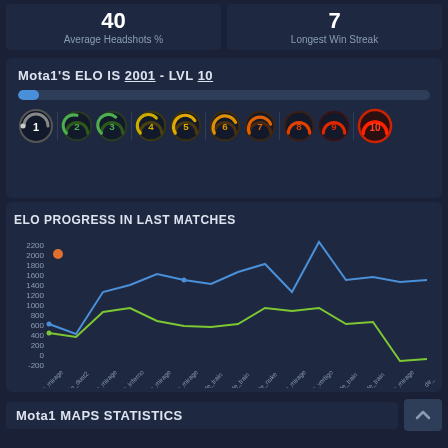40 - Average Headshots %
7 - Longest Win Streak
Mota1'S ELO IS 2001 - LVL 10
[Figure (infographic): Level progress bar with 10 circular level indicators numbered 1-10, colored from white/grey (level 1) to green (2-3), yellow (4-6), orange (7-9), red (10). Level 10 is highlighted/active.]
ELO PROGRESS IN LAST MATCHES
[Figure (line-chart): Line chart showing ELO progress and score across last matches on maps]
Mota1 MAPS STATISTICS